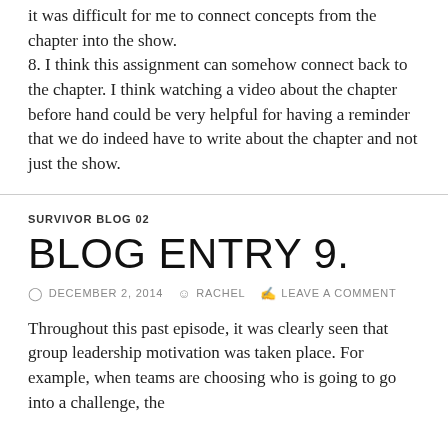it was difficult for me to connect concepts from the chapter into the show.
8. I think this assignment can somehow connect back to the chapter. I think watching a video about the chapter before hand could be very helpful for having a reminder that we do indeed have to write about the chapter and not just the show.
SURVIVOR BLOG 02
BLOG ENTRY 9.
DECEMBER 2, 2014   RACHEL   LEAVE A COMMENT
Throughout this past episode, it was clearly seen that group leadership motivation was taken place. For example, when teams are choosing who is going to go into a challenge, the